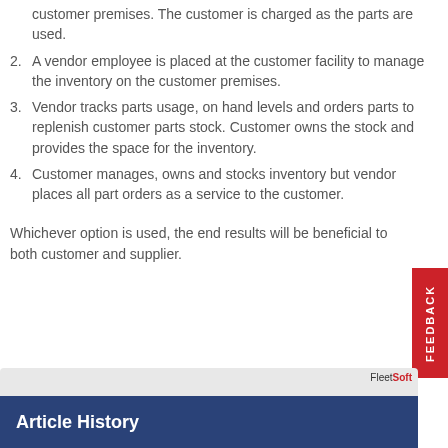customer premises. The customer is charged as the parts are used.
2. A vendor employee is placed at the customer facility to manage the inventory on the customer premises.
3. Vendor tracks parts usage, on hand levels and orders parts to replenish customer parts stock. Customer owns the stock and provides the space for the inventory.
4. Customer manages, owns and stocks inventory but vendor places all part orders as a service to the customer.
Whichever option is used, the end results will be beneficial to both customer and supplier.
Article History